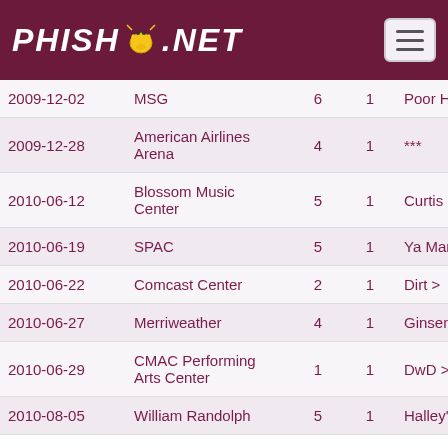PHISH.NET
| Date | Venue |  |  | Song |  |
| --- | --- | --- | --- | --- | --- |
| 2009-12-02 | MSG | 6 | 1 | Poor Heart | Pe… |
| 2009-12-28 | American Airlines Arena | 4 | 1 | *** | NI… |
| 2010-06-12 | Blossom Music Center | 5 | 1 | Curtis Loew | TT… |
| 2010-06-19 | SPAC | 5 | 1 | Ya Mar | Ax… |
| 2010-06-22 | Comcast Center | 2 | 1 | Dirt > | KD… |
| 2010-06-27 | Merriweather | 4 | 1 | Ginseng | Gi… |
| 2010-06-29 | CMAC Performing Arts Center | 1 | 1 | DwD > | Oc… |
| 2010-08-05 | William Randolph… | 5 | 1 | Halley's > | NI… |